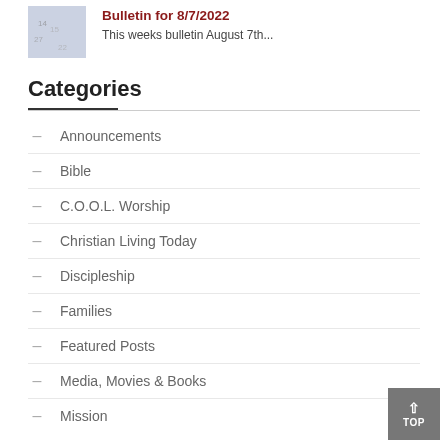Bulletin for 8/7/2022
This weeks bulletin August 7th...
Categories
Announcements
Bible
C.O.O.L. Worship
Christian Living Today
Discipleship
Families
Featured Posts
Media, Movies & Books
Mission